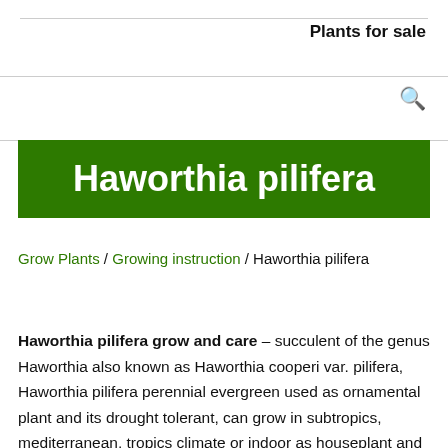Plants for sale
Haworthia pilifera
Grow Plants / Growing instruction / Haworthia pilifera
Haworthia pilifera grow and care – succulent of the genus Haworthia also known as Haworthia cooperi var. pilifera, Haworthia pilifera perennial evergreen used as ornamental plant and its drought tolerant, can grow in subtropics, mediterranean, tropics climate or indoor as houseplant and growing